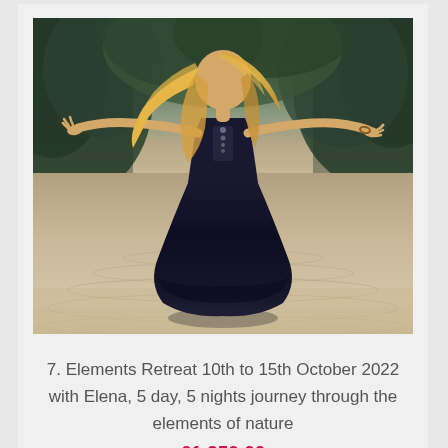[Figure (photo): A woman in a dark navy/black dress standing in a shallow body of water with her arms outstretched wide, seen from behind, with long blonde hair and a green tree-lined water background.]
7. Elements Retreat 10th to 15th October 2022 with Elena, 5 day, 5 nights journey through the elements of nature